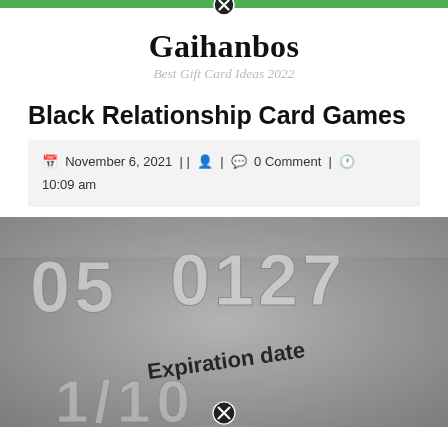Gaihanbos — Best Gift Card Ideas 2022
Black Relationship Card Games
November 6, 2021 | | 👤 | 💬 0 Comment | 🕐 10:09 am
[Figure (photo): Close-up macro photograph of an embossed credit card showing digits '05 0127' and the text 'Expiration date' with partial digits below, metallic silver surface texture]